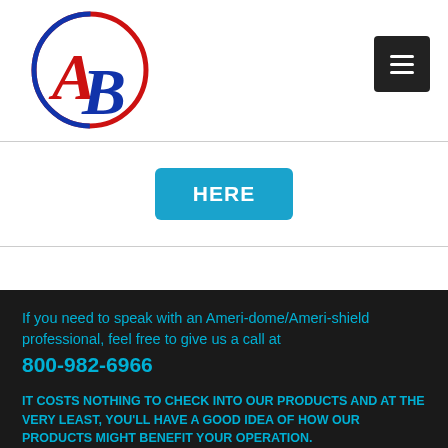[Figure (logo): AB circular logo with red A and blue B, blue and red circle border]
[Figure (other): Dark square menu button with three horizontal white lines (hamburger icon)]
HERE
If you need to speak with an Ameri-dome/Ameri-shield professional, feel free to give us a call at 800-982-6966
IT COSTS NOTHING TO CHECK INTO OUR PRODUCTS AND AT THE VERY LEAST, YOU'LL HAVE A GOOD IDEA OF HOW OUR PRODUCTS MIGHT BENEFIT YOUR OPERATION.
Our normal business hours